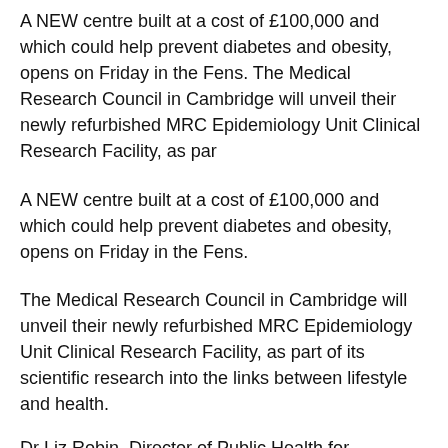A NEW centre built at a cost of £100,000 and which could help prevent diabetes and obesity, opens on Friday in the Fens. The Medical Research Council in Cambridge will unveil their newly refurbished MRC Epidemiology Unit Clinical Research Facility, as par
A NEW centre built at a cost of £100,000 and which could help prevent diabetes and obesity, opens on Friday in the Fens.
The Medical Research Council in Cambridge will unveil their newly refurbished MRC Epidemiology Unit Clinical Research Facility, as part of its scientific research into the links between lifestyle and health.
Dr Liz Robin, Director of Public Health for Cambridgeshire will open the unit, based in the North Cambridgeshire Hospital in Wisbech. The unit will assess volunteers in the MRC Fenland Study, a